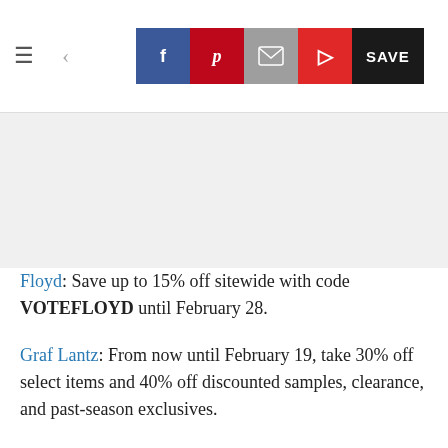≡  <  [Facebook] [Pinterest] [Email] [Flipboard] SAVE
[Figure (other): Gray advertisement placeholder area]
Floyd: Save up to 15% off sitewide with code VOTEFLOYD until February 28.
Graf Lantz: From now until February 19, take 30% off select items and 40% off discounted samples, clearance, and past-season exclusives.
Harmati: Get 20% off one item with code SAVE20 and 30% off two or more items with code SAVE30 from...